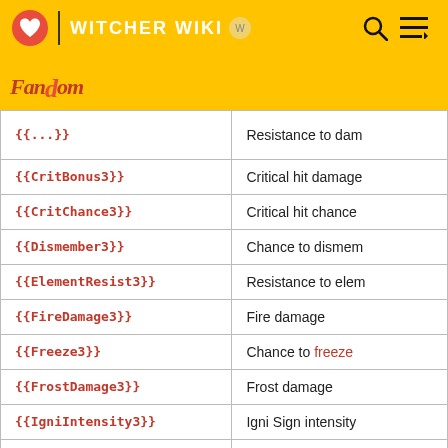WITCHER WIKI | Fandom
| Template | Description |
| --- | --- |
| {{CritBonus3}} | Critical hit damage |
| {{CritChance3}} | Critical hit chance |
| {{Dismember3}} | Chance to dismem |
| {{ElementResist3}} | Resistance to elem |
| {{FireDamage3}} | Fire damage |
| {{Freeze3}} | Chance to freeze |
| {{FrostDamage3}} | Frost damage |
| {{IgniIntensity3}} | Igni Sign intensity |
| {{InstantKill3}} | Chance for instant |
| {{MonsterResist3}} | Resistance to dam |